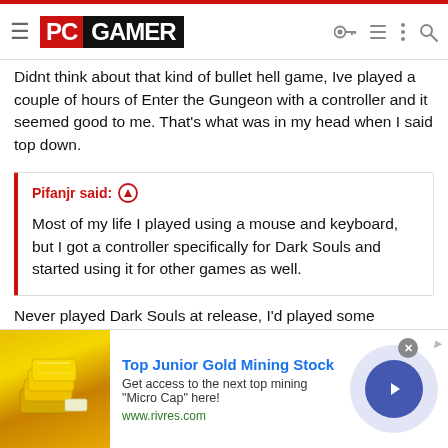PC GAMER
Didnt think about that kind of bullet hell game, Ive played a couple of hours of Enter the Gungeon with a controller and it seemed good to me. That's what was in my head when I said top down.
Pifanjr said: [upvote icon]

Most of my life I played using a mouse and keyboard, but I got a controller specifically for Dark Souls and started using it for other games as well.
Never played Dark Souls at release, I'd played some Demons Souls on PS3 and didn't get on with it, so the series passed me by until a bit after DS3 was released and I gave it another try on Switch.
[Figure (infographic): Advertisement banner for Top Junior Gold Mining Stock showing gold bars image, ad title, description text 'Get access to the next top mining "Micro Cap" here!', URL www.rivres.com, and a navigation arrow button]